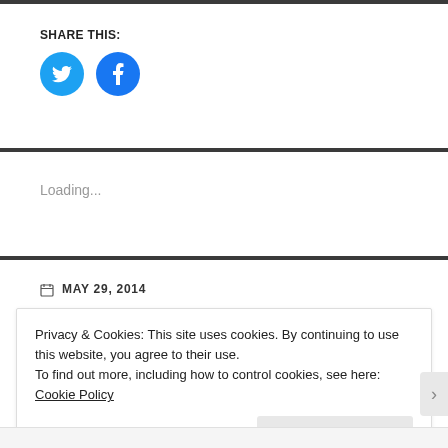SHARE THIS:
[Figure (illustration): Twitter and Facebook social sharing icon buttons (circular, blue icons)]
Loading...
MAY 29, 2014
Privacy & Cookies: This site uses cookies. By continuing to use this website, you agree to their use. To find out more, including how to control cookies, see here: Cookie Policy
Close and accept